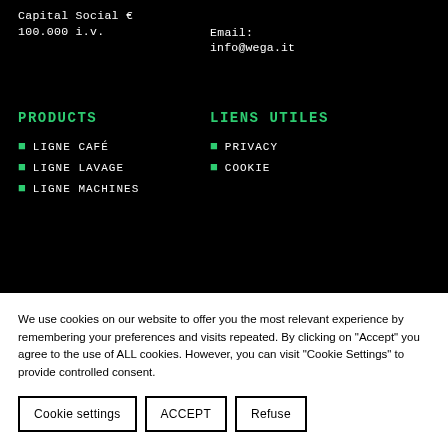Capital Social € 100.000 i.v.
Email: info@wega.it
PRODUCTS
LIENS UTILES
LIGNE CAFÉ
LIGNE LAVAGE
LIGNE MACHINES
PRIVACY
COOKIE
We use cookies on our website to offer you the most relevant experience by remembering your preferences and visits repeated. By clicking on "Accept" you agree to the use of ALL cookies. However, you can visit "Cookie Settings" to provide controlled consent.
Cookie settings | ACCEPT | Refuse